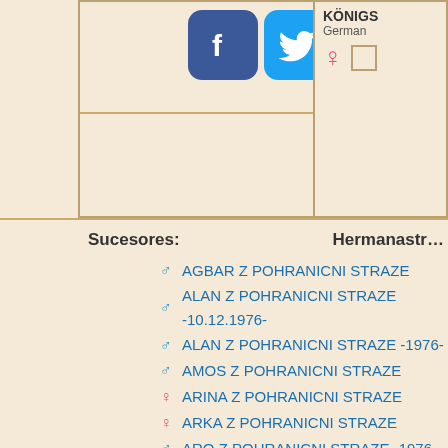[Figure (screenshot): Social media share icons: Facebook, Twitter, Odnoklassniki, VKontakte, Mail.ru, More]
KÖNIGS German ♀
Sucesores:
Hermanastr...
♂ AGBAR Z POHRANICNI STRAZE
♂ ALAN Z POHRANICNI STRAZE -10.12.1976-
♂ ALAN Z POHRANICNI STRAZE -1976-
♂ AMOS Z POHRANICNI STRAZE
♀ ARINA Z POHRANICNI STRAZE
♀ ARKA Z POHRANICNI STRAZE
♂ ARO Z POHRANICNI STRAZE -1976-
♂ ASAN Z POHRANICNI STRAZE
♀ ASTA Z POHRANICNI STRAZE -1976-
♀ BARA Z POHRANICNI STRAZE
♂ BARON Z POHRANICNI STRAZE
♀ BASKA Z POHRANICNI STRAZE
♀ BETA Z POHRANICNI STRAZE
♀ BLANA Z POHRANICNI STRAZE
♀ BLANKA Z POHRANICNI STRAZE
♂ BLEK Z POHRANICNI STRAZE